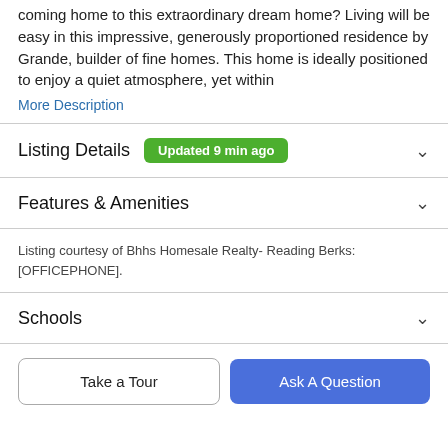coming home to this extraordinary dream home? Living will be easy in this impressive, generously proportioned residence by Grande, builder of fine homes. This home is ideally positioned to enjoy a quiet atmosphere, yet within
More Description
Listing Details  Updated 9 min ago
Features & Amenities
Listing courtesy of Bhhs Homesale Realty- Reading Berks: [OFFICEPHONE].
Schools
Take a Tour
Ask A Question